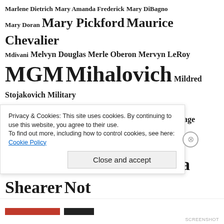[Figure (other): Tag cloud of topics and names related to a pre-code film blog, featuring words in varying font sizes indicating frequency: Marlene Dietrich, Mary Amanda Frederick, Mary DiBagno, Mary Doran, Mary Pickford, Maurice Chevalier, Mdivani, Melvyn Douglas, Merle Oberon, Mervyn LeRoy, MGM, Mihalovich, Mildred Stojakovich, Military, Mom, Murder, Music, Musical, MyHeritage, Mystery, Name Trends, Nathan Levinson, Norma Shearer, Not My Family, O'Brien, Ohio, Paramount Famous Lasky, Paramount Pictures, Pennsylvania, Podcast, Pola Negri, Pre-Code, Princess, Remember Litchfield, RKO, Robert Montgomery, Robertson, Rochelle Hudson, Ross P. Frederick, Royalty?, Ruth Mihalovich, School, Scimia, Shuhael, Lyse, Siblings, Silent Film, Sisters, Social]
Privacy & Cookies: This site uses cookies. By continuing to use this website, you agree to their use.
To find out more, including how to control cookies, see here: Cookie Policy
Close and accept